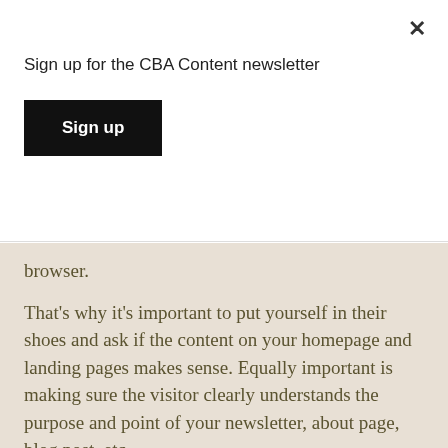Sign up for the CBA Content newsletter
Sign up
browser.
That's why it's important to put yourself in their shoes and ask if the content on your homepage and landing pages makes sense. Equally important is making sure the visitor clearly understands the purpose and point of your newsletter, about page, blog post, etc.
These  questions are a good place to start when determining if your content will